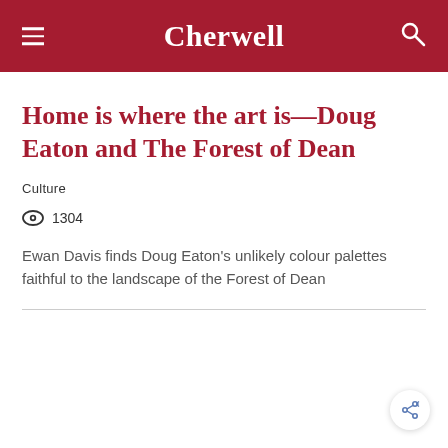Cherwell
Home is where the art is—Doug Eaton and The Forest of Dean
Culture
1304
Ewan Davis finds Doug Eaton's unlikely colour palettes faithful to the landscape of the Forest of Dean